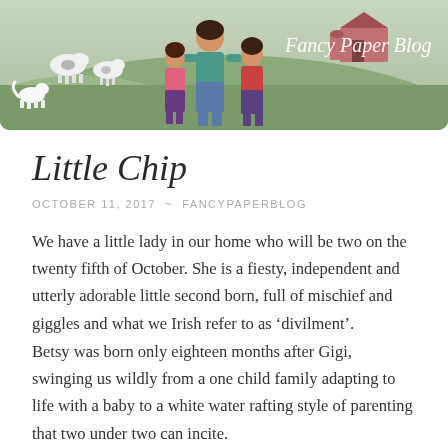[Figure (illustration): Fancy Paper Blog banner illustration showing a woman with two young girls in a green countryside setting with cows in background, a barn, and a small white dog. Script text reads 'Fancy Paper Blog' in white.]
Little Chip
OCTOBER 11, 2017 ~ FANCYPAPERBLOG
We have a little lady in our home who will be two on the twenty fifth of October. She is a fiesty, independent and utterly adorable little second born, full of mischief and giggles and what we Irish refer to as 'divilment'.
Betsy was born only eighteen months after Gigi, swinging us wildly from a one child family adapting to life with a baby to a white water rafting style of parenting that two under two can incite.